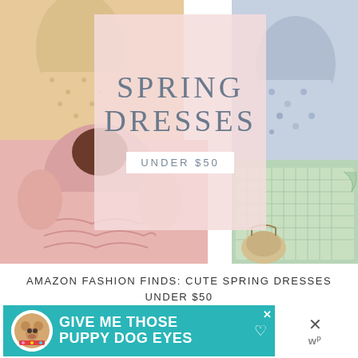[Figure (infographic): Fashion collage showing spring dresses: top-left a floral/spot print dress with sandals, top-right a blue floral midi dress, bottom-left a pink long-sleeve ruffled dress, bottom-right a green gingham tiered dress with a wicker bag. Overlaid with a pink semi-transparent card reading SPRING DRESSES UNDER $50.]
AMAZON FASHION FINDS: CUTE SPRING DRESSES UNDER $50
[Figure (infographic): Advertisement banner in teal/turquoise color featuring a dog image on the left and bold white text reading GIVE ME THOSE PUPPY DOG EYES with a heart icon. Has a close X button in the top right corner. Adjacent to the right is an X symbol and a stylized W superscript P logo.]